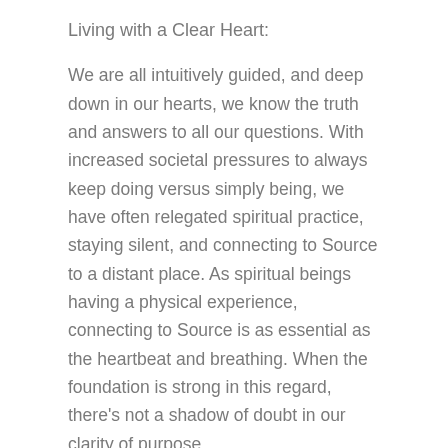Living with a Clear Heart:
We are all intuitively guided, and deep down in our hearts, we know the truth and answers to all our questions. With increased societal pressures to always keep doing versus simply being, we have often relegated spiritual practice, staying silent, and connecting to Source to a distant place. As spiritual beings having a physical experience, connecting to Source is as essential as the heartbeat and breathing. When the foundation is strong in this regard, there's not a shadow of doubt in our clarity of purpose.
Living with a Full Heart:
The experience of grace-fullness is profound and it